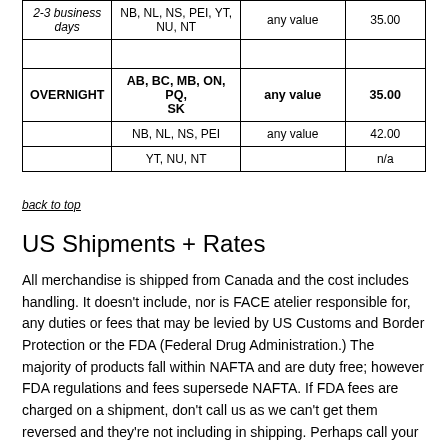|  |  | any value |  |
| --- | --- | --- | --- |
| 2-3 business days | NB, NL, NS, PEI, YT, NU, NT | any value | 35.00 |
|  |  |  |  |
| OVERNIGHT | AB, BC, MB, ON, PQ, SK | any value | 35.00 |
|  | NB, NL, NS, PEI | any value | 42.00 |
|  | YT, NU, NT |  | n/a |
back to top
US Shipments + Rates
All merchandise is shipped from Canada and the cost includes handling. It doesn't include, nor is FACE atelier responsible for, any duties or fees that may be levied by US Customs and Border Protection or the FDA (Federal Drug Administration.) The majority of products fall within NAFTA and are duty free; however FDA regulations and fees supersede NAFTA. If FDA fees are charged on a shipment, don't call us as we can't get them reversed and they're not including in shipping. Perhaps call your Senator? Sometimes there's nothing free about free trade.